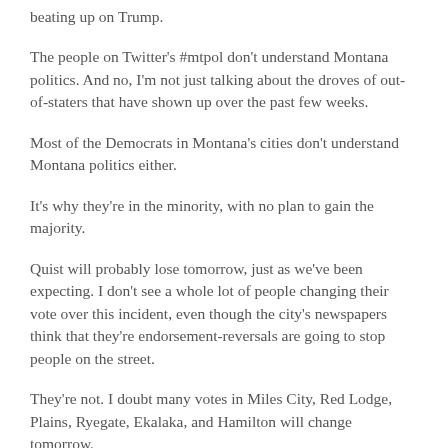beating up on Trump.
The people on Twitter's #mtpol don't understand Montana politics. And no, I'm not just talking about the droves of out-of-staters that have shown up over the past few weeks.
Most of the Democrats in Montana's cities don't understand Montana politics either.
It's why they're in the minority, with no plan to gain the majority.
Quist will probably lose tomorrow, just as we've been expecting. I don't see a whole lot of people changing their vote over this incident, even though the city's newspapers think that they're endorsement-reversals are going to stop people on the street.
They're not. I doubt many votes in Miles City, Red Lodge, Plains, Ryegate, Ekalaka, and Hamilton will change tomorrow.
I doubt a lot of people are going to get up off the couch in Missoula tomorrow with the sudden urge to vote because of